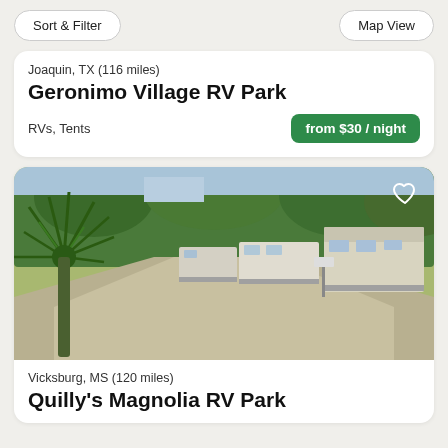Sort & Filter | Map View
Joaquin, TX (116 miles)
Geronimo Village RV Park
RVs, Tents
from $30 / night
[Figure (photo): An RV park with multiple large RVs parked along a gravel road, green lawn in foreground, trees in background, yucca plant on left side.]
Vicksburg, MS (120 miles)
Quilly's Magnolia RV Park